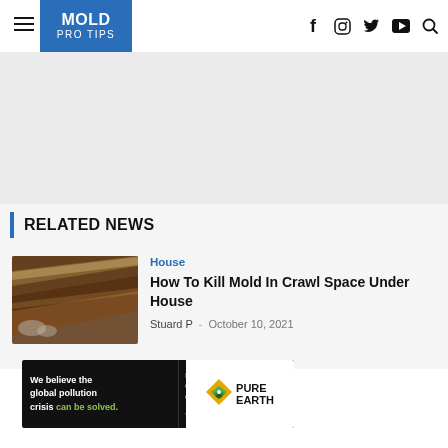MOLD PRO TIPS — navigation header with logo and social icons
RELATED NEWS
[Figure (photo): Thumbnail photo of mold in crawl space under a house — wooden beams with white mold]
House
How To Kill Mold In Crawl Space Under House
Stuard P  -  October 10, 2021
[Figure (other): Pure Earth advertisement banner: We believe the global pollution crisis can be solved. In a world where pollution doesn't stop at borders, we can all be part of the solution. JOIN US. PURE EARTH logo.]